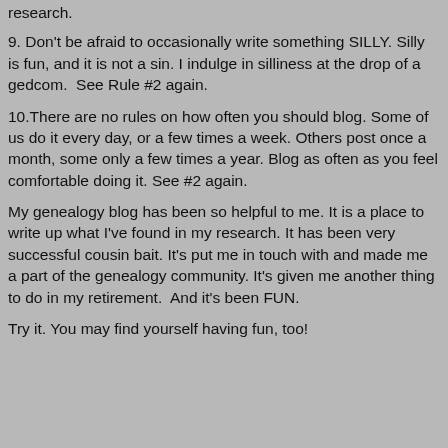research.
9. Don't be afraid to occasionally write something SILLY. Silly is fun, and it is not a sin. I indulge in silliness at the drop of a gedcom.  See Rule #2 again.
10.There are no rules on how often you should blog. Some of us do it every day, or a few times a week. Others post once a month, some only a few times a year. Blog as often as you feel comfortable doing it. See #2 again.
My genealogy blog has been so helpful to me. It is a place to write up what I've found in my research. It has been very successful cousin bait. It's put me in touch with and made me a part of the genealogy community. It's given me another thing to do in my retirement.  And it's been FUN.
Try it. You may find yourself having fun, too!